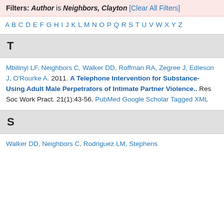Filters: Author is Neighbors, Clayton [Clear All Filters]
A B C D E F G H I J K L M N O P Q R S T U V W X Y Z
T
Mbilinyi LF, Neighbors C, Walker DD, Roffman RA, Zegree J, Edleson J, O'Rourke A. 2011. A Telephone Intervention for Substance-Using Adult Male Perpetrators of Intimate Partner Violence.. Res Soc Work Pract. 21(1):43-56. PubMed Google Scholar Tagged XML
S
Walker DD, Neighbors C, Rodriguez LM, Stephens